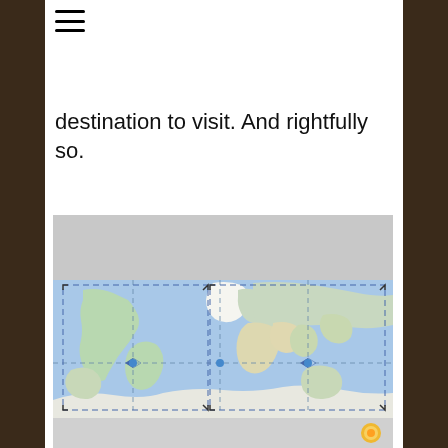[Figure (other): Hamburger menu icon (three horizontal lines)]
destination to visit. And rightfully so.
[Figure (map): Google Maps-style world map showing continents and oceans with dashed grid lines and selection rectangle outlines]
[Figure (other): Bottom strip with a yellow sun/location icon on right side]